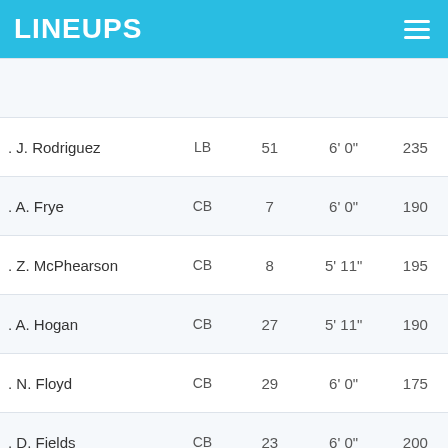LINEUPS
| Name | Pos | # | Ht | Wt |
| --- | --- | --- | --- | --- |
| . J. Rodriguez | LB | 51 | 6' 0" | 235 |
| . A. Frye | CB | 7 | 6' 0" | 190 |
| . Z. McPhearson | CB | 8 | 5' 11" | 195 |
| . A. Hogan | CB | 27 | 5' 11" | 190 |
| . N. Floyd | CB | 29 | 6' 0" | 175 |
| . D. Fields | CB | 23 | 6' 0" | 200 |
| . D. Taylor-Demerson | CB | 25 | 5' 11" | 190 |